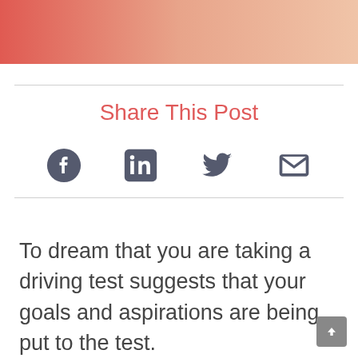[Figure (illustration): Gradient bar fading from coral/red on the left to peach/salmon on the right]
Share This Post
[Figure (infographic): Row of four social media icons: Facebook, LinkedIn, Twitter, Email]
To dream that you are taking a driving test suggests that your goals and aspirations are being put to the test.